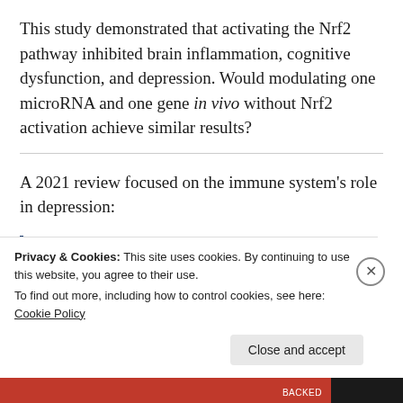This study demonstrated that activating the Nrf2 pathway inhibited brain inflammation, cognitive dysfunction, and depression. Would modulating one microRNA and one gene in vivo without Nrf2 activation achieve similar results?
A 2021 review focused on the immune system's role in depression:
“Major depressive disorder is one of the
Privacy & Cookies: This site uses cookies. By continuing to use this website, you agree to their use.
To find out more, including how to control cookies, see here: Cookie Policy